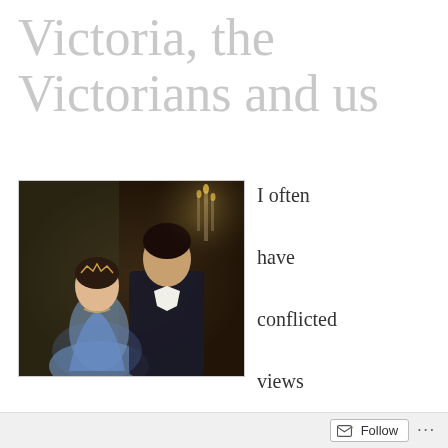Victoria, the Victorians and us
[Figure (photo): Photo of two actors in Victorian period costume — a young woman wearing a tiara and a blue off-shoulder dress, and a tall man in a dark suit with a white cravat, posed together in an ornate interior setting.]
I often have conflicted views about books and TV programmes which deal with real historical figures. There are so many questions surrounding how accurate to be and historically credible…
Follow